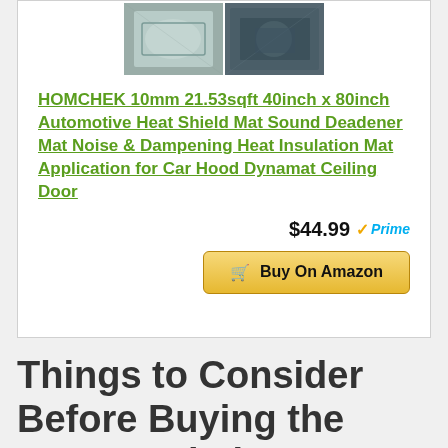[Figure (photo): Two product photos of automotive heat shield/sound deadener mat shown side by side]
HOMCHEK 10mm 21.53sqft 40inch x 80inch Automotive Heat Shield Mat Sound Deadener Mat Noise & Dampening Heat Insulation Mat Application for Car Hood Dynamat Ceiling Door
$44.99 Prime
Buy On Amazon
Things to Consider Before Buying the Best Insulation For